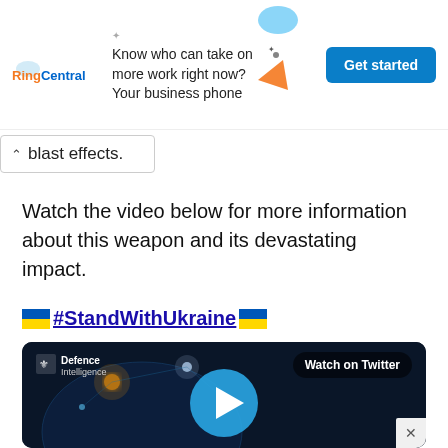[Figure (screenshot): RingCentral advertisement banner: 'Know who can take on more work right now? Your business phone' with 'Get started' button in blue]
blast effects.
Watch the video below for more information about this weapon and its devastating impact.
🇺🇦 #StandWithUkraine🇺🇦
[Figure (screenshot): Defence Intelligence video embed with dark background, globe graphic with glowing nodes, play button in center, 'Watch on Twitter' label top right]